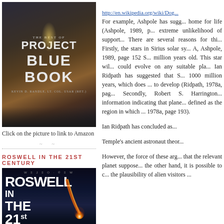[Figure (photo): Book cover: The Best of Project Blue Book by Kevin D. Randle, Lt. Col. USAR (Ret.)]
Click on the picture to link to Amazon
ROSWELL IN THE 21ST CENTURY
[Figure (photo): Book cover: Roswell in the 21st Century, featuring large bold title text and a comet on dark blue background]
http://en.wikipedia.org/wiki/Dog... For example, Ashpole has suggested that Sirius B is the most likely home for life (Ashpole, 1989, p. ...) despite the extreme unlikelihood of supporting life in a binary star system. There are several reasons for this. Firstly, the stars in Sirius solar system ... A, Ashpole, 1989, page 152 Sirius B is only 300 million years old. This star will not allow time for life to could evolve on any suitable planet. Ian Ridpath has suggested that Sirius B is only 1000 million years, which does not allow sufficient time for life to develop (Ridpath, 1978a, page ...). Secondly, Robert S. Harrington ... information indicating that planets are unlikely to exist in the defined as the region in which ... 1978a, page 193). Ian Ridpath has concluded as ... Temple's ancient astronaut theory ... However, the force of these arguments ... that the relevant planet supposed ... the other hand, it is possible to c... the plausibility of alien visitors ...